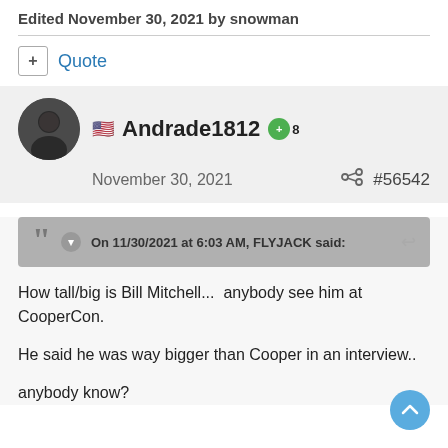Edited November 30, 2021 by snowman
+ Quote
🇺🇸 Andrade1812 +8
November 30, 2021  #56542
On 11/30/2021 at 6:03 AM, FLYJACK said:
How tall/big is Bill Mitchell...  anybody see him at CooperCon.

He said he was way bigger than Cooper in an interview..

anybody know?